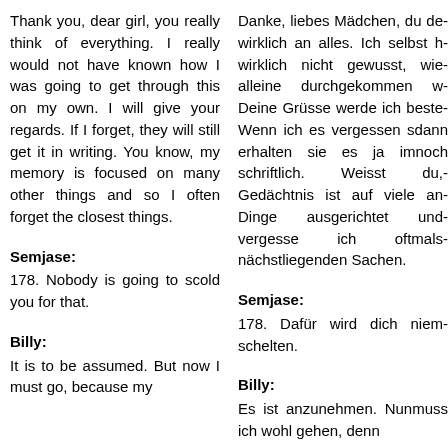Thank you, dear girl, you really think of everything. I really would not have known how I was going to get through this on my own. I will give your regards. If I forget, they will still get it in writing. You know, my memory is focused on many other things and so I often forget the closest things.
Danke, liebes Mädchen, du denkst wirklich an alles. Ich selbst hätte wirklich nicht gewusst, wie ich alleine durchgekommen wäre. Deine Grüsse werde ich bestellen. Wenn ich es vergessen sollte, dann erhalten sie es ja immer noch schriftlich. Weisst du, mein Gedächtnis ist auf viele andere Dinge ausgerichtet und so vergesse ich oftmals die nächstliegenden Sachen.
Semjase:
Semjase:
178. Nobody is going to scold you for that.
178. Dafür wird dich niemand schelten.
Billy:
Billy:
It is to be assumed. But now I must go, because my
Es ist anzunehmen. Nun muss ich wohl gehen, denn